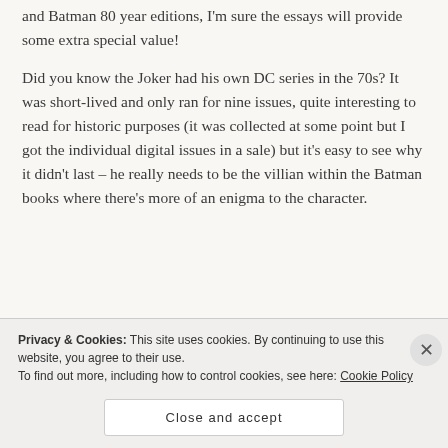and Batman 80 year editions, I'm sure the essays will provide some extra special value!
Did you know the Joker had his own DC series in the 70s? It was short-lived and only ran for nine issues, quite interesting to read for historic purposes (it was collected at some point but I got the individual digital issues in a sale) but it's easy to see why it didn't last – he really needs to be the villian within the Batman books where there's more of an enigma to the character.
Privacy & Cookies: This site uses cookies. By continuing to use this website, you agree to their use. To find out more, including how to control cookies, see here: Cookie Policy
Close and accept